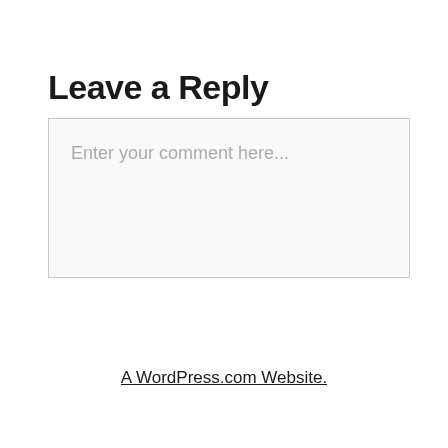Leave a Reply
Enter your comment here...
A WordPress.com Website.